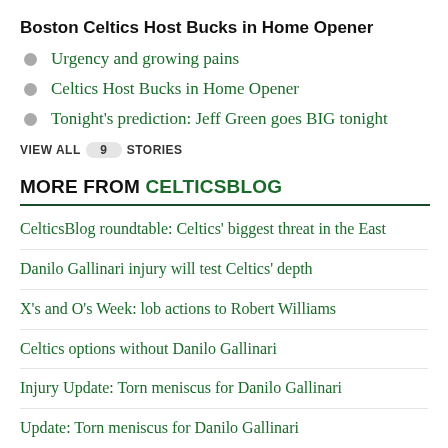Boston Celtics Host Bucks in Home Opener
Urgency and growing pains
Celtics Host Bucks in Home Opener
Tonight's prediction: Jeff Green goes BIG tonight
VIEW ALL 9 STORIES
MORE FROM CELTICSBLOG
CelticsBlog roundtable: Celtics' biggest threat in the East
Danilo Gallinari injury will test Celtics' depth
X's and O's Week: lob actions to Robert Williams
Celtics options without Danilo Gallinari
Injury Update: Torn meniscus for Danilo Gallinari
Update: Torn meniscus for Danilo Gallinari
America is battling a dry eye epidemic. Here's how to